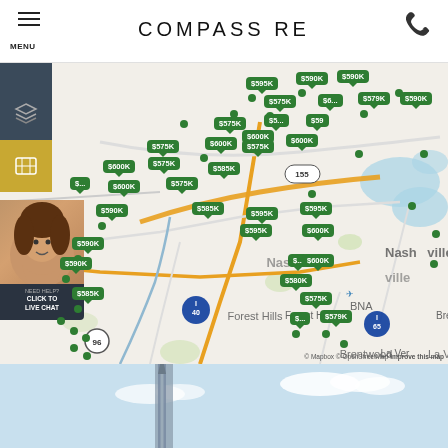COMPASS RE
[Figure (map): Real estate listing map of Nashville/Brentwood Tennessee area showing property price tags ($575K-$600K range) as green bubbles on a Mapbox/OpenStreetMap base map with neighborhoods including Forest Hills, Brentwood, BNA airport area, and La Vergne. UI overlay includes layer switcher, map view button, agent avatar with live chat button.]
© Mapbox © OpenStreetMap Improve this map
[Figure (photo): Bottom portion of a building or monument photograph showing a tall spire/obelisk against a blue sky with clouds]